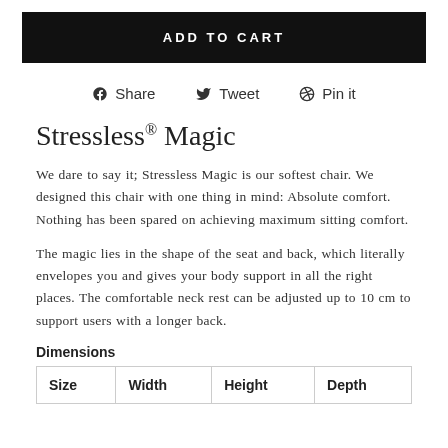ADD TO CART
Share   Tweet   Pin it
Stressless® Magic
We dare to say it; Stressless Magic is our softest chair. We designed this chair with one thing in mind: Absolute comfort. Nothing has been spared on achieving maximum sitting comfort.
The magic lies in the shape of the seat and back, which literally envelopes you and gives your body support in all the right places. The comfortable neck rest can be adjusted up to 10 cm to support users with a longer back.
Dimensions
| Size | Width | Height | Depth |
| --- | --- | --- | --- |